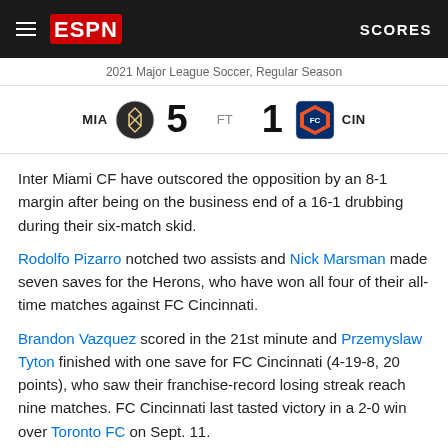ESPN  SCORES
2021 Major League Soccer, Regular Season
MIA 5  FT  1 CIN
Inter Miami CF have outscored the opposition by an 8-1 margin after being on the business end of a 16-1 drubbing during their six-match skid.
Rodolfo Pizarro notched two assists and Nick Marsman made seven saves for the Herons, who have won all four of their all-time matches against FC Cincinnati.
Brandon Vazquez scored in the 21st minute and Przemyslaw Tyton finished with one save for FC Cincinnati (4-19-8, 20 points), who saw their franchise-record losing streak reach nine matches. FC Cincinnati last tasted victory in a 2-0 win over Toronto FC on Sept. 11.